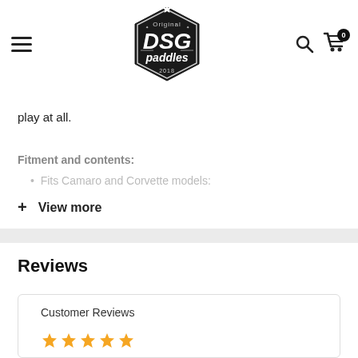[Figure (logo): DSG Paddles original logo, hexagonal badge shape with star on top, 2018 date, serif/brush font]
play at all.
Fitment and contents:
Fits Camaro and Corvette models:
+ View more
Reviews
Customer Reviews